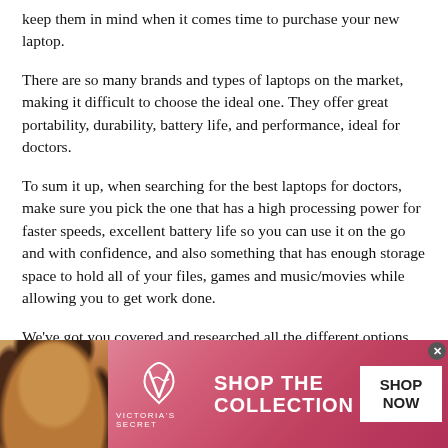keep them in mind when it comes time to purchase your new laptop.
There are so many brands and types of laptops on the market, making it difficult to choose the ideal one. They offer great portability, durability, battery life, and performance, ideal for doctors.
To sum it up, when searching for the best laptops for doctors, make sure you pick the one that has a high processing power for faster speeds, excellent battery life so you can use it on the go and with confidence, and also something that has enough storage space to hold all of your files, games and music/movies while allowing you to get work done.
We've got you covered and researched all the different options out there, and found the best laptops for doctors. We hope our piece on
[Figure (advertisement): Victoria's Secret advertisement banner with a woman model on the left, VS logo in the center, 'SHOP THE COLLECTION' text, and a white 'SHOP NOW' button on the right. Pink gradient background.]